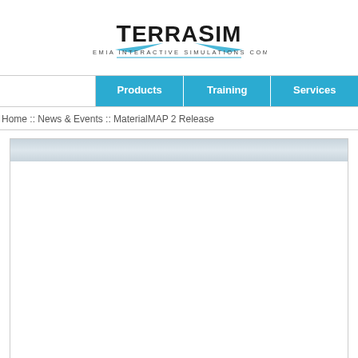[Figure (logo): TerraSim logo — A Bohemia Interactive Simulations Company]
Products | Training | Services
Home :: News & Events :: MaterialMAP 2 Release